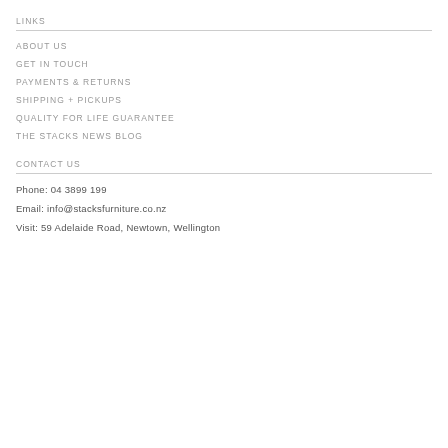LINKS
ABOUT US
GET IN TOUCH
PAYMENTS & RETURNS
SHIPPING + PICKUPS
QUALITY FOR LIFE GUARANTEE
THE STACKS NEWS BLOG
CONTACT US
Phone: 04 3899 199
Email: info@stacksfurniture.co.nz
Visit: 59 Adelaide Road, Newtown, Wellington